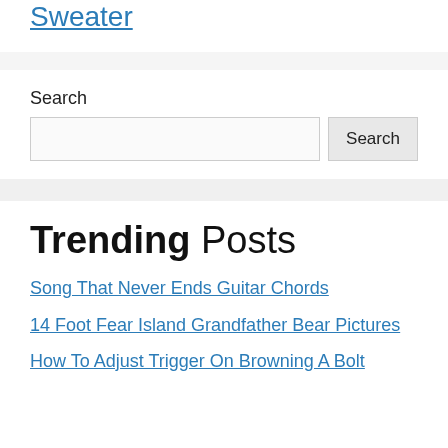Sweater
Search
Song That Never Ends Guitar Chords
14 Foot Fear Island Grandfather Bear Pictures
How To Adjust Trigger On Browning A Bolt